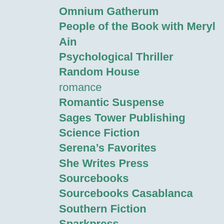Omnium Gatherum
People of the Book with Meryl Ain
Psychological Thriller
Random House
romance
Romantic Suspense
Sages Tower Publishing
Science Fiction
Serena’s Favorites
She Writes Press
Sourcebooks
Sourcebooks Casablanca
Southern Fiction
Sparkpress
St. Martins Griffin
StMartinsPress
suspense